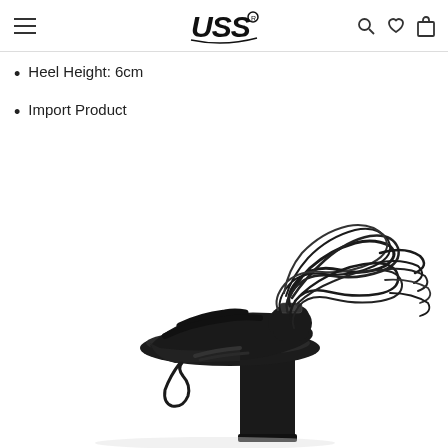USS (logo) — navigation header with hamburger menu, search, wishlist, cart icons
Heel Height: 6cm
Import Product
[Figure (photo): Close-up product photo of a black lace-up block heel sandal with long thin ankle tie straps coiled around the ankle area, viewed from a slightly elevated angle against a white background.]